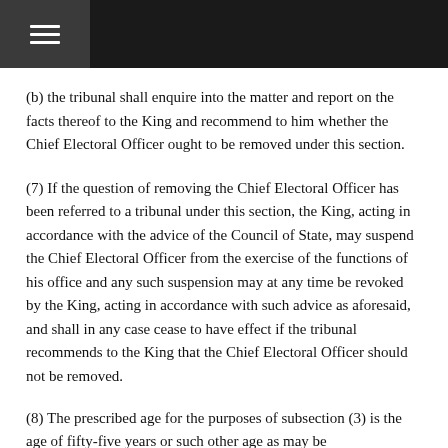(b) the tribunal shall enquire into the matter and report on the facts thereof to the King and recommend to him whether the Chief Electoral Officer ought to be removed under this section.
(7) If the question of removing the Chief Electoral Officer has been referred to a tribunal under this section, the King, acting in accordance with the advice of the Council of State, may suspend the Chief Electoral Officer from the exercise of the functions of his office and any such suspension may at any time be revoked by the King, acting in accordance with such advice as aforesaid, and shall in any case cease to have effect if the tribunal recommends to the King that the Chief Electoral Officer should not be removed.
(8) The prescribed age for the purposes of subsection (3) is the age of fifty-five years or such other age as may be